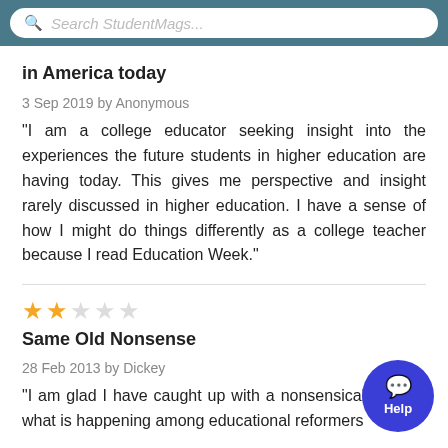Search StudentMags...
in America today
3 Sep 2019 by Anonymous
“I am a college educator seeking insight into the experiences the future students in higher education are having today. This gives me perspective and insight rarely discussed in higher education. I have a sense of how I might do things differently as a college teacher because I read Education Week.”
Same Old Nonsense
28 Feb 2013 by Dickey
“I am glad I have caught up with a nonsensical mag on what is happening among educational reformers